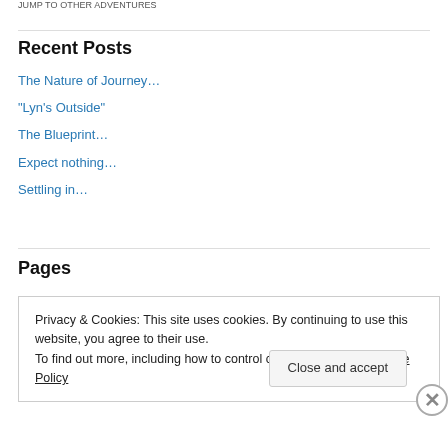JUMP TO OTHER ADVENTURES
Recent Posts
The Nature of Journey…
“Lyn’s Outside”
The Blueprint…
Expect nothing…
Settling in…
Pages
Privacy & Cookies: This site uses cookies. By continuing to use this website, you agree to their use.
To find out more, including how to control cookies, see here: Cookie Policy
Close and accept